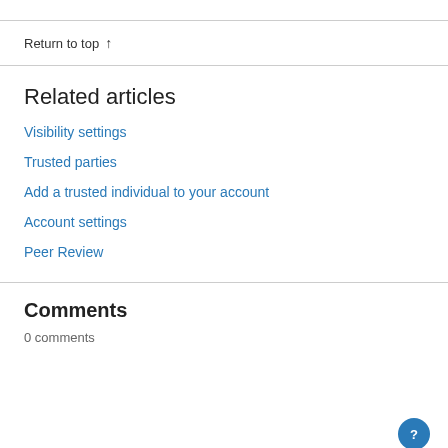Return to top ↑
Related articles
Visibility settings
Trusted parties
Add a trusted individual to your account
Account settings
Peer Review
Comments
0 comments